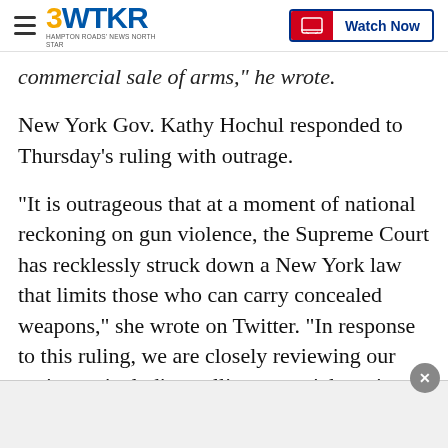3WTKR | Watch Now
commercial sale of arms," he wrote.
New York Gov. Kathy Hochul responded to Thursday's ruling with outrage.
"It is outrageous that at a moment of national reckoning on gun violence, the Supreme Court has recklessly struck down a New York law that limits those who can carry concealed weapons," she wrote on Twitter. "In response to this ruling, we are closely reviewing our options – including calling a special session of the legislature. Just as we swiftly passed nation-leading gun reform legislation, I will continue